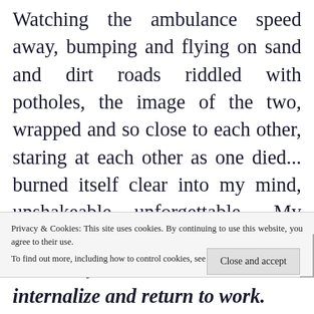Watching the ambulance speed away, bumping and flying on sand and dirt roads riddled with potholes, the image of the two, wrapped and so close to each other, staring at each other as one died... burned itself clear into my mind, unshakeable, unforgettable... My mind drove straight to the possible loss of my own brother and the
Privacy & Cookies: This site uses cookies. By continuing to use this website, you agree to their use.
To find out more, including how to control cookies, see here: Cookie Policy
internalize and return to work.